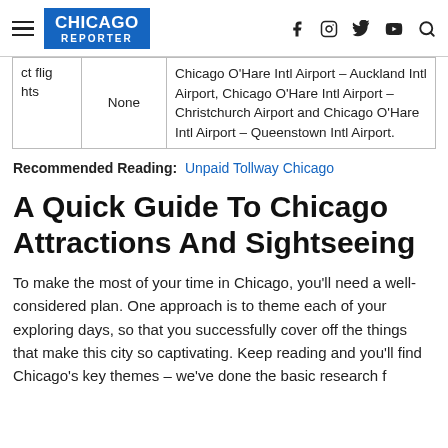Chicago Reporter
| ct flights | None | Chicago O’Hare Intl Airport – Auckland Intl Airport, Chicago O’Hare Intl Airport – Christchurch Airport and Chicago O’Hare Intl Airport – Queenstown Intl Airport. |
Recommended Reading: Unpaid Tollway Chicago
A Quick Guide To Chicago Attractions And Sightseeing
To make the most of your time in Chicago, you’ll need a well-considered plan. One approach is to theme each of your exploring days, so that you successfully cover off the things that make this city so captivating. Keep reading and you’ll find Chicago’s key themes – we’ve done the basic research f...